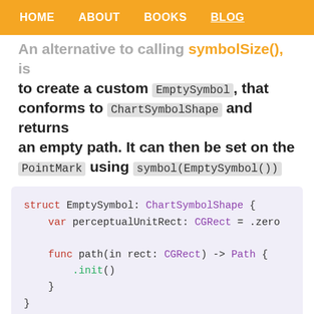HOME  ABOUT  BOOKS  BLOG
An alternative to calling symbolSize(), is to create a custom EmptySymbol, that conforms to ChartSymbolShape and returns an empty path. It can then be set on the PointMark using symbol(EmptySymbol())
[Figure (screenshot): Swift code block: struct EmptySymbol: ChartSymbolShape { var perceptualUnitRect: CGRect = .zero  func path(in rect: CGRect) -> Path { .init() } }]
Related Posts
...